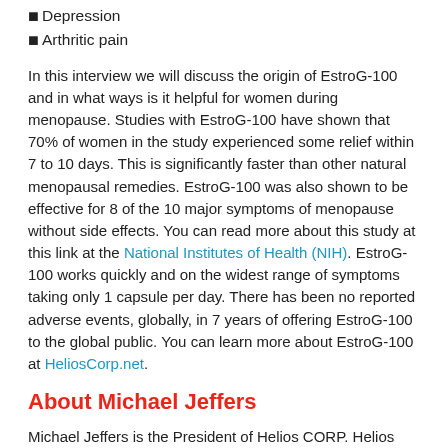Depression
Arthritic pain
In this interview we will discuss the origin of EstroG-100 and in what ways is it helpful for women during menopause. Studies with EstroG-100 have shown that 70% of women in the study experienced some relief within 7 to 10 days. This is significantly faster than other natural menopausal remedies. EstroG-100 was also shown to be effective for 8 of the 10 major symptoms of menopause without side effects. You can read more about this study at this link at the National Institutes of Health (NIH). EstroG-100 works quickly and on the widest range of symptoms taking only 1 capsule per day. There has been no reported adverse events, globally, in 7 years of offering EstroG-100 to the global public. You can learn more about EstroG-100 at HeliosCorp.net.
About Michael Jeffers
Michael Jeffers is the President of Helios CORP. Helios CORP. takes cultural remedies and creates commercial, branded ingredients that are backed by human Phase I and human Phase II clinical studies.
[Figure (logo): Helios CORP logo with green leaf icon inside a dark navy blue rectangular border]